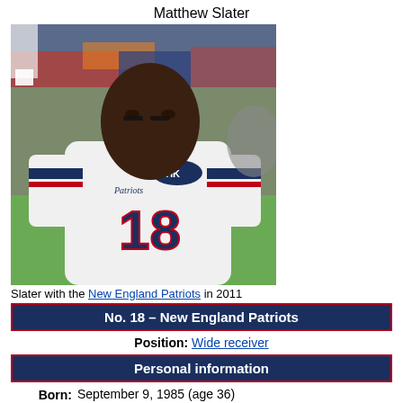Matthew Slater
[Figure (photo): Matthew Slater wearing New England Patriots jersey number 18 with MHK patch, sideline photo taken in 2011]
Slater with the New England Patriots in 2011
| No. 18 – New England Patriots |
| Position: | Wide receiver |
| Personal information |
| Born: | September 9, 1985 (age 36)
Long Beach, California |